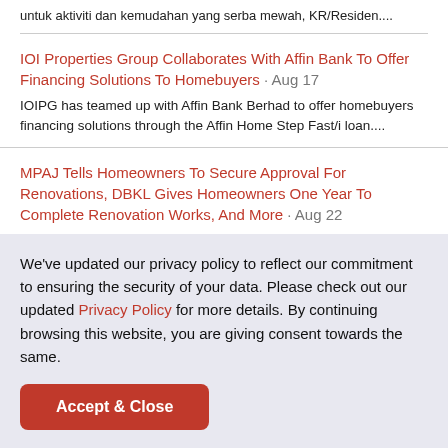untuk aktiviti dan kemudahan yang serba mewah, KR/Residen....
IOI Properties Group Collaborates With Affin Bank To Offer Financing Solutions To Homebuyers · Aug 17
IOIPG has teamed up with Affin Bank Berhad to offer homebuyers financing solutions through the Affin Home Step Fast/i loan....
MPAJ Tells Homeowners To Secure Approval For Renovations, DBKL Gives Homeowners One Year To Complete Renovation Works, And More · Aug 22
Check out the news highlights of what happened in the Malaysian
We've updated our privacy policy to reflect our commitment to ensuring the security of your data. Please check out our updated Privacy Policy for more details. By continuing browsing this website, you are giving consent towards the same.
Accept & Close